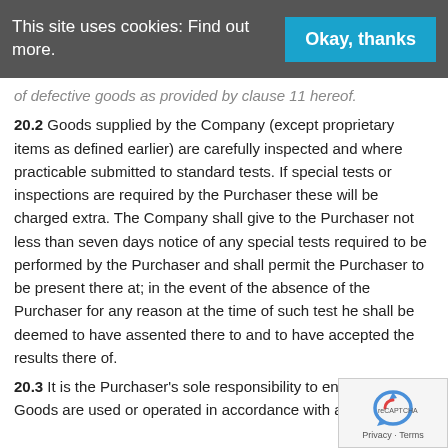This site uses cookies: Find out more. | Okay, thanks
of defective goods as provided by clause 11 hereof.
20.2 Goods supplied by the Company (except proprietary items as defined earlier) are carefully inspected and where practicable submitted to standard tests. If special tests or inspections are required by the Purchaser these will be charged extra. The Company shall give to the Purchaser not less than seven days notice of any special tests required to be performed by the Purchaser and shall permit the Purchaser to be present there at; in the event of the absence of the Purchaser for any reason at the time of such test he shall be deemed to have assented there to and to have accepted the results there of.
20.3 It is the Purchaser's sole responsibility to ensure the Goods are used or operated in accordance with any safety